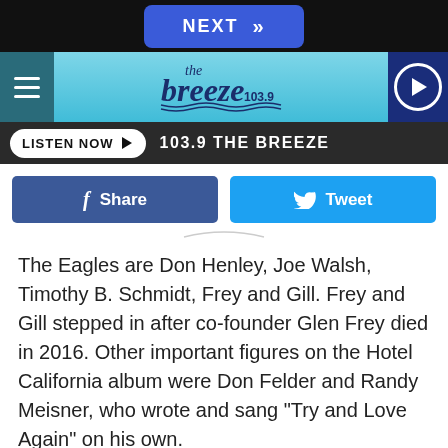[Figure (screenshot): NEXT button with chevrons on dark bar]
[Figure (logo): the breeze 103.9 radio station logo on light blue header bar with hamburger menu and play button]
[Figure (screenshot): LISTEN NOW button and 103.9 THE BREEZE label on dark bar]
[Figure (screenshot): Facebook Share and Twitter Tweet buttons]
The Eagles are Don Henley, Joe Walsh, Timothy B. Schmidt, Frey and Gill. Frey and Gill stepped in after co-founder Glen Frey died in 2016. Other important figures on the Hotel California album were Don Felder and Randy Meisner, who wrote and sang "Try and Love Again" on his own.
ADVERTISEMENT